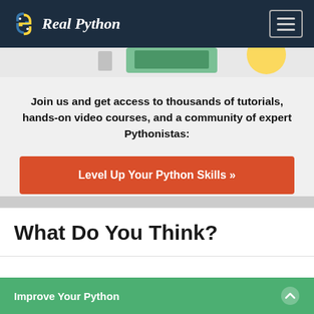Real Python
[Figure (illustration): Partial illustration strip visible at top of promo card]
Join us and get access to thousands of tutorials, hands-on video courses, and a community of expert Pythonistas:
Level Up Your Python Skills »
What Do You Think?
Improve Your Python